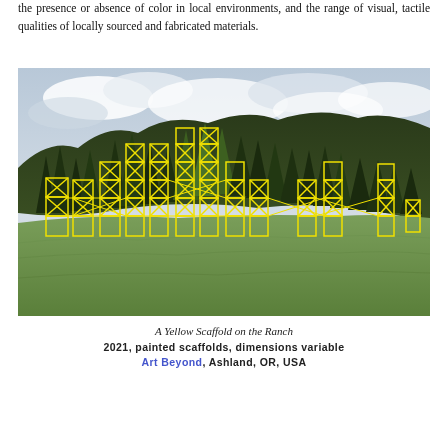the presence or absence of color in local environments, and the range of visual, tactile qualities of locally sourced and fabricated materials.
[Figure (photo): Outdoor photograph of a green meadow with conifer trees and a forested hillside under a cloudy sky. In the foreground are multiple yellow painted scaffolding structures arranged across the field.]
A Yellow Scaffold on the Ranch
2021, painted scaffolds, dimensions variable
Art Beyond, Ashland, OR, USA